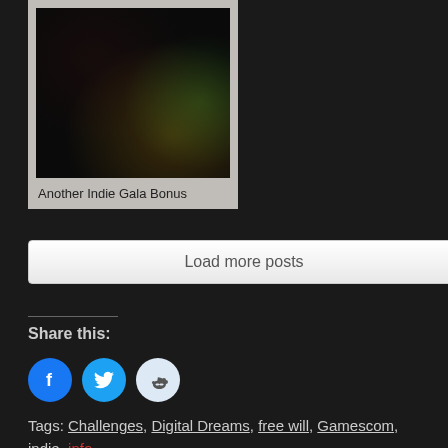[Figure (photo): Thumbnail image with dark gradient colors (dark background with red, yellow, green hues) for 'Another Indie Gala Bonus' post card]
Another Indie Gala Bonus
Load more posts
Share this:
[Figure (infographic): Social share icons: Facebook (blue circle), Twitter (light blue circle), Reddit (light blue circle)]
Tags: Challenges, Digital Dreams, free will, Gamescom, indie, info, Metrico+, music, Palmbomen, synth, unique worlds
This entry was posted on Wednesday, July 15th, 2015 at 3:15 pm by Coff is filed under News. You can follow any responses to this entry through th